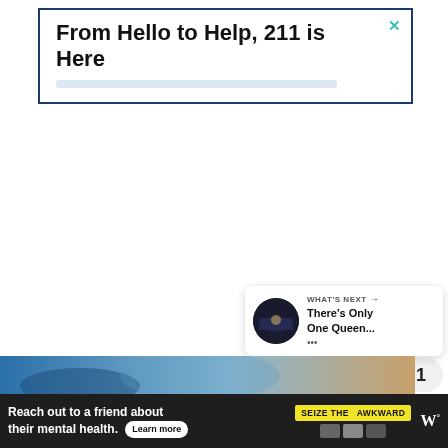[Figure (screenshot): Advertisement banner with text 'From Hello to Help, 211 is Here' inside a dark blue border, with a teal X close button in the top right corner and a light blue bar below the text.]
[Figure (infographic): Green circle heart/like button (fab), count badge showing '1', and share button below, positioned on the right side of the page.]
[Figure (infographic): 'WHAT'S NEXT' panel with a circular thumbnail of a concert/stage photo, label 'WHAT'S NEXT' with arrow, and title 'There's Only One Queen...' with ellipsis dots.]
[Figure (photo): Partial photo strip showing a blurred blue and tan image at the bottom of the content area.]
[Figure (infographic): Bottom advertisement bar on dark background: 'Reach out to a friend about their mental health. Learn more' with 'SEIZE THE AWKWARD' yellow badge and media logos on the right including W logo.]